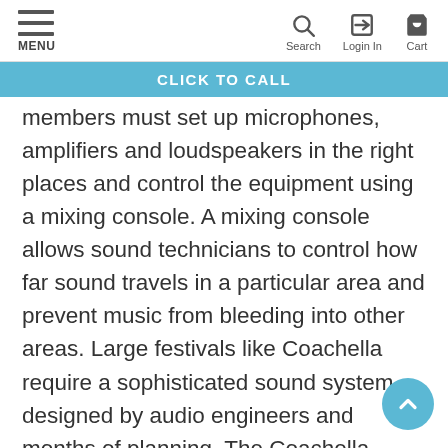MENU | Search | Login In | Cart
CLICK TO CALL
members must set up microphones, amplifiers and loudspeakers in the right places and control the equipment using a mixing console. A mixing console allows sound technicians to control how far sound travels in a particular area and prevent music from bleeding into other areas. Large festivals like Coachella require a sophisticated sound system designed by audio engineers and months of planning. The Coachella sound crew consisted of